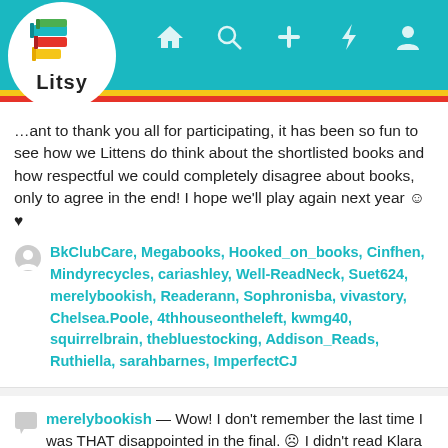[Figure (logo): Litsy app logo with colorful book stack icon in a white circle on teal navigation bar]
…ant to thank you all for participating, it has been so fun to see how we Littens do think about the shortlisted books and how respectful we could completely disagree about books, only to agree in the end! I hope we'll play again next year ☺♥
BkClubCare, Megabooks, Hooked_on_books, Cinfhen, Mindyrecycles, cariashley, Well-ReadNeck, Suet624, merelybookish, Readerann, Sophronisba, vivastory, Chelsea.Poole, 4thhouseontheleft, kwmg40, squirrelbrain, thebluestocking, Addison_Reads, Ruthiella, sarahbarnes, ImperfectCJ
merelybookish — Wow! I don't remember the last time I was THAT disappointed in the final. ☹ I didn't read Klara but there were so many other good books that seem more deserving. Thank goodness Littens know what's up!! Thanks again Barbara!!
5mo